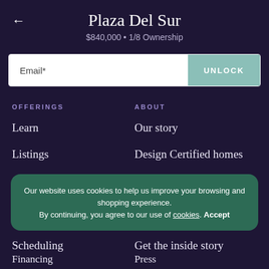Plaza Del Sur
$840,000 • 1/8 Ownership
Email*  UNLOCK
OFFERINGS
ABOUT
Learn
Our story
Listings
Design Certified homes
Collections
Agents
Our website uses cookies to help us improve your browsing and shopping experience. By continuing, you agree to our use of cookies. Accept
Scheduling
Get the inside story
Financing
Press